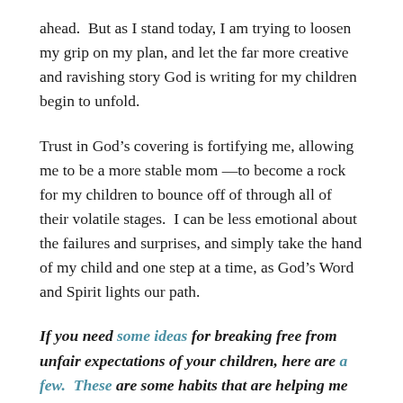ahead.  But as I stand today, I am trying to loosen my grip on my plan, and let the far more creative and ravishing story God is writing for my children begin to unfold.
Trust in God’s covering is fortifying me, allowing me to be a more stable mom —to become a rock for my children to bounce off of through all of their volatile stages.  I can be less emotional about the failures and surprises, and simply take the hand of my child and one step at a time, as God’s Word and Spirit lights our path.
If you need some ideas for breaking free from unfair expectations of your children, here are a few.  These are some habits that are helping me loosen my grip on control, helping me walk in freedom to allow my children to be the mysterious and unique and beautiful unknown miracles they were made to be.